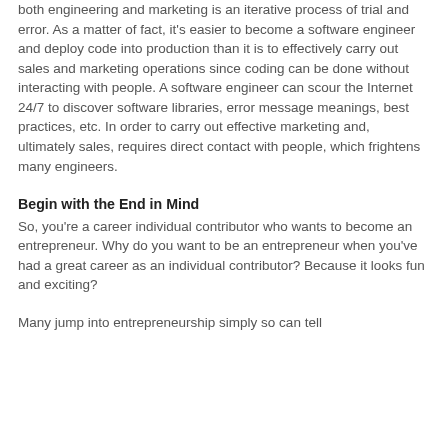both engineering and marketing is an iterative process of trial and error. As a matter of fact, it's easier to become a software engineer and deploy code into production than it is to effectively carry out sales and marketing operations since coding can be done without interacting with people. A software engineer can scour the Internet 24/7 to discover software libraries, error message meanings, best practices, etc. In order to carry out effective marketing and, ultimately sales, requires direct contact with people, which frightens many engineers.
Begin with the End in Mind
So, you're a career individual contributor who wants to become an entrepreneur. Why do you want to be an entrepreneur when you've had a great career as an individual contributor? Because it looks fun and exciting?
Many jump into entrepreneurship simply so can tell